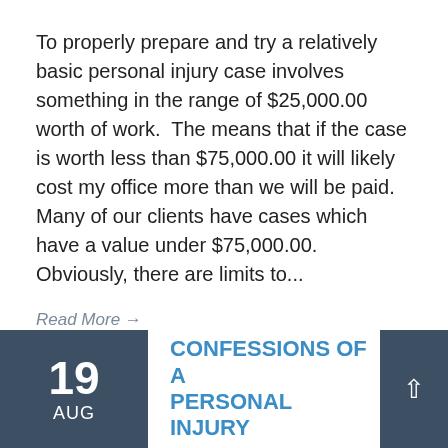To properly prepare and try a relatively basic personal injury case involves something in the range of $25,000.00 worth of work. The means that if the case is worth less than $75,000.00 it will likely cost my office more than we will be paid. Many of our clients have cases which have a value under $75,000.00. Obviously, there are limits to...
Read More →
19 AUG
CONFESSIONS OF A PERSONAL INJURY